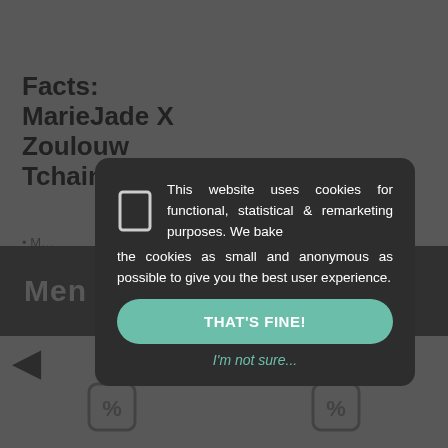Facts: MarieJade X Zoulouw Tchaing T-Shirt
M...
P...
S...
...
Men... Sale 70
[Figure (screenshot): Cookie consent modal dialog overlay on a website. Dark rounded modal box with cookie icon, text: 'This website uses cookies for functional, statistical & remarketing purposes. We bake the cookies as small and anonymous as possible to give you the best user experience.' with a teal 'THAT'S FINE!' button and a 'I'm not sure...' link below.]